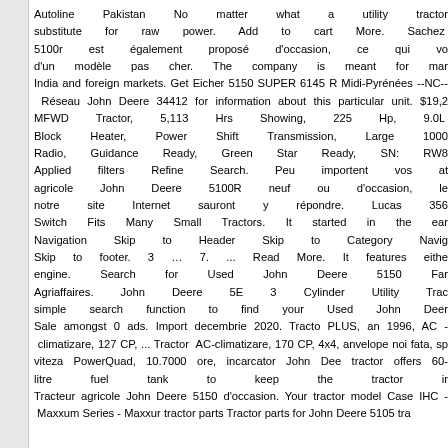Autoline Pakistan No matter what a utility tractor substitute for raw power. Add to cart More. Sachez 5100r est également proposé d'occasion, ce qui vo d'un modèle pas cher. The company is meant for mar India and foreign markets. Get Eicher 5150 SUPER 6145 R Midi-Pyrénées --NC-- Réseau John Deere 34412 for information about this particular unit. $19,2 MFWD Tractor, 5,113 Hrs Showing, 225 Hp, 9.0L Block Heater, Power Shift Transmission, Large 1000 Radio, Guidance Ready, Green Star Ready, SN: RW8 Applied filters Refine Search. Peu importent vos at agricole John Deere 5100R neuf ou d'occasion, le notre site Internet sauront y répondre. Lucas 356 Switch Fits Many Small Tractors. It started in the ear Navigation Skip to Header Skip to Category Navig Skip to footer. 3 … 7. ... Read More. It features eithe engine. Search for Used John Deere 5150 Far Agriaffaires. John Deere 5E 3 Cylinder Utility Trac simple search function to find your Used John Deer Sale amongst 0 ads. Import decembrie 2020. Tracto PLUS, an 1996, AC - climatizare, 127 CP, ... Tractor AC-climatizare, 170 CP, 4x4, anvelope noi fata, sp viteza PowerQuad, 10.7000 ore, incarcator John Dee tractor offers 60-litre fuel tank to keep the tractor ir Tracteur agricole John Deere 5150 d'occasion. Your tractor model Case IHC - Maxxum Series - Maxxur tractor parts Tractor parts for John Deere 5105 tra